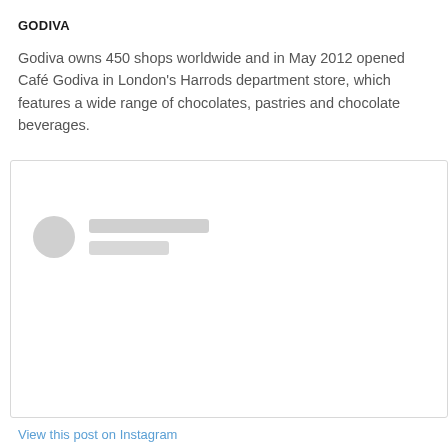GODIVA
Godiva owns 450 shops worldwide and in May 2012 opened Café Godiva in London's Harrods department store, which features a wide range of chocolates, pastries and chocolate beverages.
[Figure (screenshot): A placeholder card with a grey circle avatar and two grey placeholder lines, representing a social media post or profile card embed. Below the card is a partially visible blue link.]